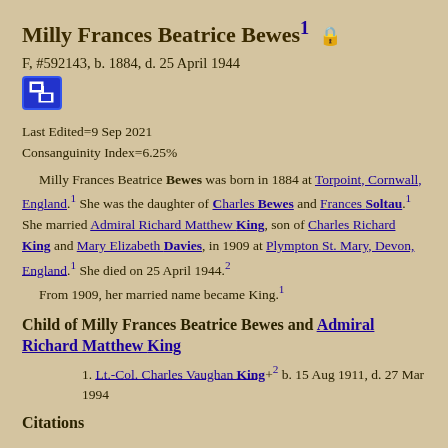Milly Frances Beatrice Bewes¹ 🔒
F, #592143, b. 1884, d. 25 April 1944
Last Edited=9 Sep 2021
Consanguinity Index=6.25%
Milly Frances Beatrice Bewes was born in 1884 at Torpoint, Cornwall, England.¹ She was the daughter of Charles Bewes and Frances Soltau.¹ She married Admiral Richard Matthew King, son of Charles Richard King and Mary Elizabeth Davies, in 1909 at Plympton St. Mary, Devon, England.¹ She died on 25 April 1944.² From 1909, her married name became King.¹
Child of Milly Frances Beatrice Bewes and Admiral Richard Matthew King
1. Lt.-Col. Charles Vaughan King+² b. 15 Aug 1911, d. 27 Mar 1994
Citations